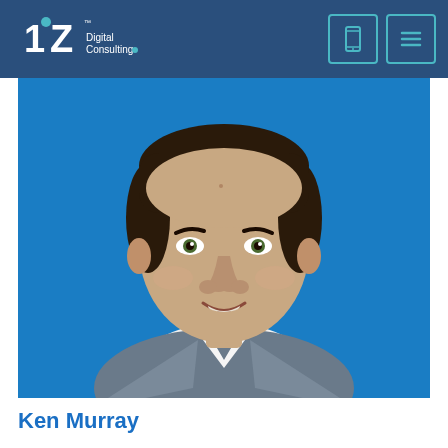OZ Digital Consulting
[Figure (photo): Professional headshot of Ken Murray, a middle-aged man with short dark hair, wearing a white shirt and grey blazer, smiling against a bright blue background. The photo appears on the OZ Digital Consulting website.]
Ken Murray